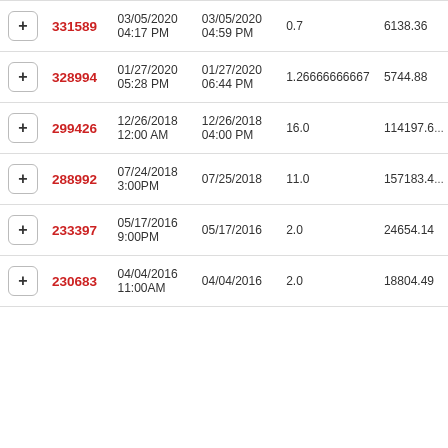|  | ID | Start Date/Time | End Date/Time | Duration | Value |
| --- | --- | --- | --- | --- | --- |
| + | 331589 | 03/05/2020 04:17 PM | 03/05/2020 04:59 PM | 0.7 | 6138.36 |
| + | 328994 | 01/27/2020 05:28 PM | 01/27/2020 06:44 PM | 1.26666666667 | 5744.88 |
| + | 299426 | 12/26/2018 12:00 AM | 12/26/2018 04:00 PM | 16.0 | 114197.6 |
| + | 288992 | 07/24/2018 3:00PM | 07/25/2018 | 11.0 | 157183.4 |
| + | 233397 | 05/17/2016 9:00PM | 05/17/2016 | 2.0 | 24654.14 |
| + | 230683 | 04/04/2016 11:00AM | 04/04/2016 | 2.0 | 18804.49 |